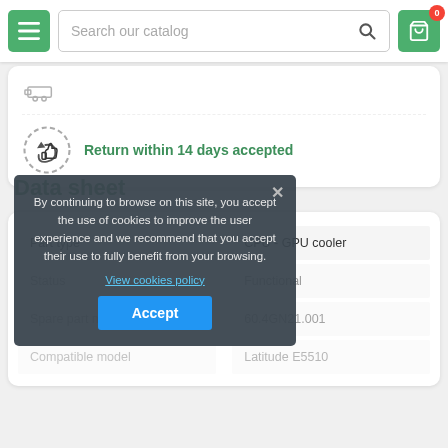[Figure (screenshot): Navigation bar with hamburger menu button (green), search bar with placeholder 'Search our catalog' and magnifier icon, and shopping cart button (green) with red badge showing 0]
[Figure (illustration): Return policy icon: circular arrow with thumbs up symbol]
Return within 14 days accepted
Data sheet
| Part type | CPU - GPU cooler |
| --- | --- |
| Status | Functional |
| Spare part number | 60.4GN21.001 |
| Compatible model | Latitude E5510 |
By continuing to browse on this site, you accept the use of cookies to improve the user experience and we recommend that you accept their use to fully benefit from your browsing.
View cookies policy
Accept